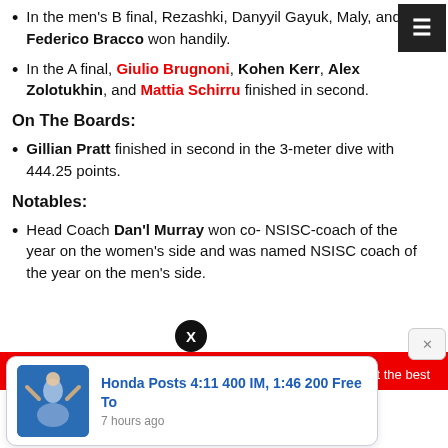In the men's B final, Rezashki, Danyyil Gayuk, Maly, and Federico Bracco won handily.
In the A final, Giulio Brugnoni, Kohen Kerr, Alex Zolotukhin, and Mattia Schirru finished in second.
On The Boards:
Gillian Pratt finished in second in the 3-meter dive with 444.25 points.
Notables:
Head Coach Dan'l Murray won co- NSISC-coach of the year on the women's side and was named NSISC coach of the year on the men's side.
[Figure (screenshot): Honda Posts 4:11 400 IM, 1:46 200 Free To notification card with swimmer image, shown 7 hours ago]